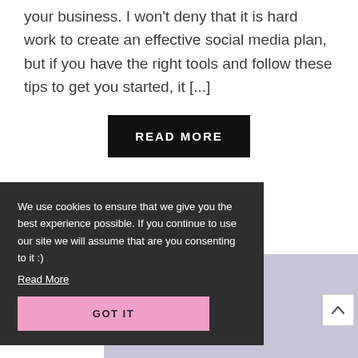your business. I won't deny that it is hard work to create an effective social media plan, but if you have the right tools and follow these tips to get you started, it [...]
READ MORE
[Figure (illustration): Lavender/purple background image with a cursive letter 'a' in white]
We use cookies to ensure that we give you the best experience possible. If you continue to use our site we will assume that are you consenting to it :)
Read More
GOT IT